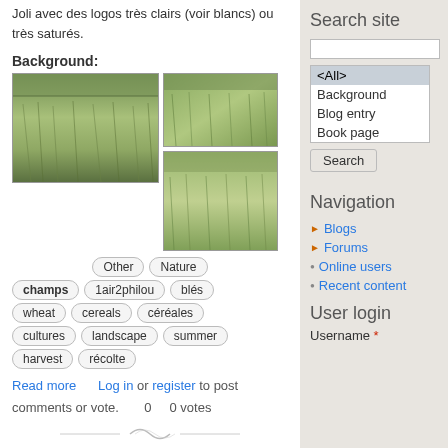Joli avec des logos très clairs (voir blancs) ou très saturés.
Background:
[Figure (photo): Three photos of a wheat/grain field with green stalks — one large on the left and two smaller ones on the right stacked vertically.]
Other
Nature
champs
1air2philou
blés
wheat
cereals
céréales
cultures
landscape
summer
harvest
récolte
Read more   Log in or register to post comments or vote.   0   0 votes
phillies.com
Search site
Navigation
Blogs
Forums
Online users
Recent content
User login
Username *